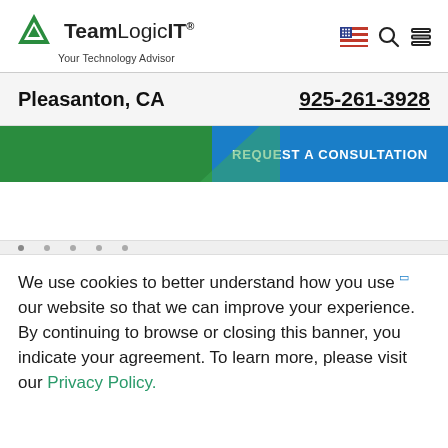TeamLogic IT - Your Technology Advisor | Pleasanton, CA | 925-261-3928
Pleasanton, CA
925-261-3928
REQUEST A CONSULTATION
We use cookies to better understand how you use our website so that we can improve your experience. By continuing to browse or closing this banner, you indicate your agreement. To learn more, please visit our Privacy Policy.